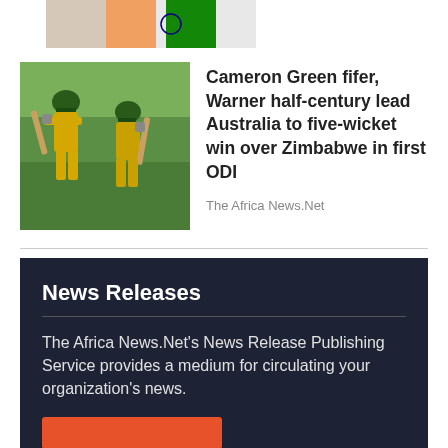[Figure (photo): Partial view of Indian flag with orange, white, and green colors]
[Figure (photo): Two Australian cricket players in yellow uniforms holding bats on a green field]
Cameron Green fifer, Warner half-century lead Australia to five-wicket win over Zimbabwe in first ODI
The Africa News.Net
Access More »
News Releases
The Africa News.Net's News Release Publishing Service provides a medium for circulating your organization's news.